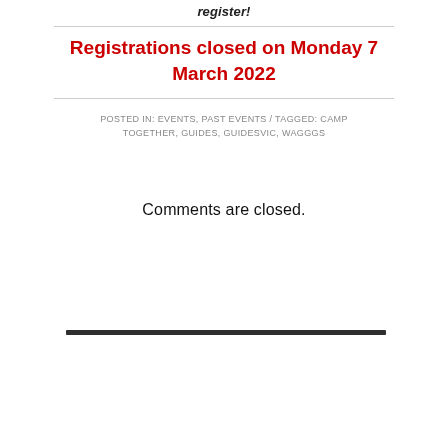register!
Registrations closed on Monday 7 March 2022
POSTED IN: EVENTS, PAST EVENTS / TAGGED: CAMP TOGETHER, GUIDES, GUIDESVIC, WAGGGS
Comments are closed.